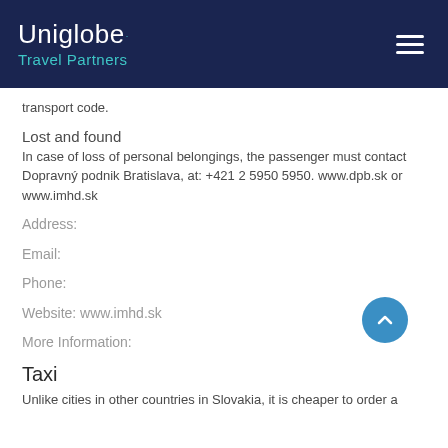Uniglobe. Travel Partners
transport code.
Lost and found
In case of loss of personal belongings, the passenger must contact Dopravný podnik Bratislava, at: +421 2 5950 5950. www.dpb.sk or www.imhd.sk
Address:
Email:
Phone:
Website: www.imhd.sk
More Information:
Taxi
Unlike cities in other countries in Slovakia, it is cheaper to order a